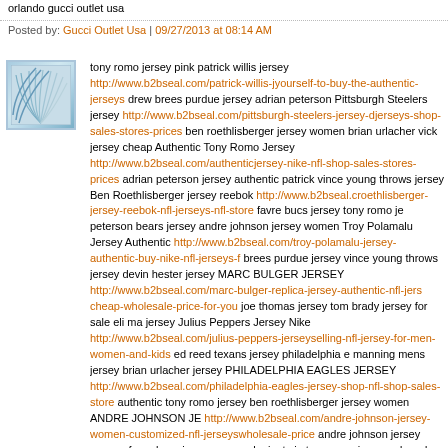orlando gucci outlet usa
Posted by: Gucci Outlet Usa | 09/27/2013 at 08:14 AM
[Figure (illustration): Avatar image with blue wave/fan pattern on white background]
tony romo jersey pink patrick willis jersey http://www.b2bseal.com/patrick-willis-j... yourself-to-buy-the-authentic-jerseys drew brees purdue jersey adrian peterson Pittsburgh Steelers jersey http://www.b2bseal.com/pittsburgh-steelers-jersey-d... jerseys-shop-sales-stores-prices ben roethlisberger jersey women brian urlacher vick jersey cheap Authentic Tony Romo Jersey http://www.b2bseal.com/authentic... jersey-nike-nfl-shop-sales-stores-prices adrian peterson jersey authentic patrick vince young throws jersey Ben Roethlisberger jersey reebok http://www.b2bseal.c... roethlisberger-jersey-reebok-nfl-jerseys-nfl-store favre bucs jersey tony romo je peterson bears jersey andre johnson jersey women Troy Polamalu Jersey Authentic http://www.b2bseal.com/troy-polamalu-jersey-authentic-buy-nike-nfl-jerseys-f... brees purdue jersey vince young throws jersey devin hester jersey MARC BULGER JERSEY http://www.b2bseal.com/marc-bulger-replica-jersey-authentic-nfl-jers... cheap-wholesale-price-for-you joe thomas jersey tom brady jersey for sale eli ma jersey Julius Peppers Jersey Nike http://www.b2bseal.com/julius-peppers-jersey... selling-nfl-jersey-for-men-women-and-kids ed reed texans jersey philadelphia e manning mens jersey brian urlacher jersey PHILADELPHIA EAGLES JERSEY http://www.b2bseal.com/philadelphia-eagles-jersey-shop-nfl-shop-sales-store... authentic tony romo jersey ben roethlisberger jersey women ANDRE JOHNSON JE... http://www.b2bseal.com/andre-johnson-jersey-women-customized-nfl-jerseys... wholesale-price andre johnson jersey women favre bucs jersey new york giants je tony romo jersey ed reed texans jersey http://www.b2bseal.com/ed-reed-texans-... wholesale-nike-nfl-jerseys-usa andre johnson jersey black ben roethlisberger jers manning mens jersey DREW BREES PURDUE JERSEY http://www.b2bseal.com... purdue-jersey-womens-youth-kids-mens-shop michael vick jersey eagles tom b sale Michael Vick Authentic Jersey http://www.b2bseal.com/michael-vick-th...